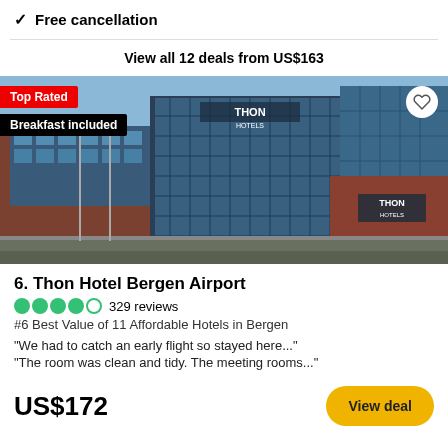✓ Free cancellation
View all 12 deals from US$163
[Figure (photo): Exterior photo of Thon Hotel Bergen Airport, a modern brick and glass building with THON HOTELS signage, flags in foreground, blue sky background. Badges overlay: 'Top Rated' in red and 'Breakfast included' in black.]
6. Thon Hotel Bergen Airport
329 reviews
#6 Best Value of 11 Affordable Hotels in Bergen
"We had to catch an early flight so stayed here..."
"The room was clean and tidy. The meeting rooms..."
US$172
View deal